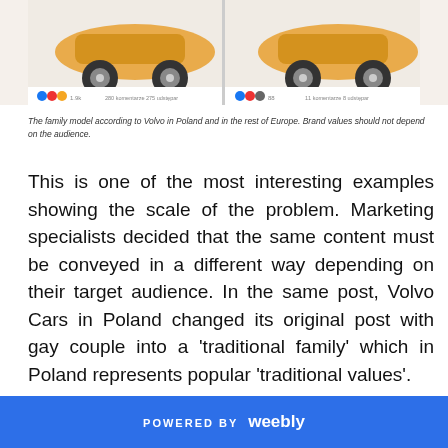[Figure (screenshot): Two side-by-side Facebook post screenshots showing Volvo Cars promotional images — left shows a gay couple with a car, right shows a traditional heterosexual family with a car. Each post includes social media reaction icons and comment/share counts.]
The family model according to Volvo in Poland and in the rest of Europe. Brand values should not depend on the audience.
This is one of the most interesting examples showing the scale of the problem. Marketing specialists decided that the same content must be conveyed in a different way depending on their target audience. In the same post, Volvo Cars in Poland changed its original post with gay couple into a 'traditional family' which in Poland represents popular 'traditional values'.
POWERED BY weebly